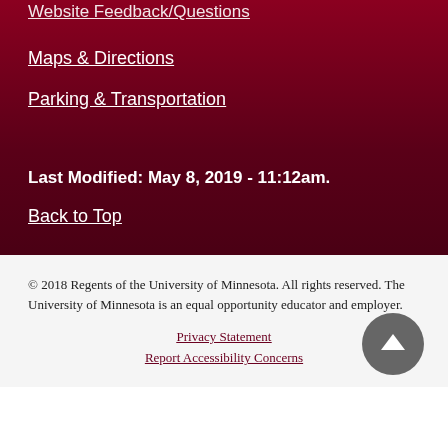Website Feedback/Questions
Maps & Directions
Parking & Transportation
Last Modified: May 8, 2019 - 11:12am.
Back to Top
© 2018 Regents of the University of Minnesota. All rights reserved. The University of Minnesota is an equal opportunity educator and employer.
Privacy Statement
Report Accessibility Concerns